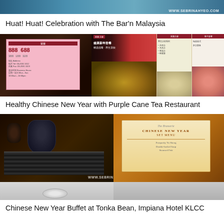[Figure (photo): Top strip of a photo showing watermark www.sebrinahyeo.com on a blue/teal background]
Huat! Huat! Celebration with The Bar'n Malaysia
[Figure (photo): Two-panel photo: left shows a pink receipt/ticket with numbers 888 and 688 on a dark table background; right shows Chinese New Year brochures/menus with food images and Chinese text, watermark www.sebrinahyeo.com]
Healthy Chinese New Year with Purple Cane Tea Restaurant
[Figure (photo): Two-panel photo: left shows a dark decorative table setting with vase and striped mat; right shows an orange/gold Chinese New Year Set Menu card from a restaurant. Watermark www.sebrinahyeo.com at bottom center.]
Chinese New Year Buffet at Tonka Bean, Impiana Hotel KLCC